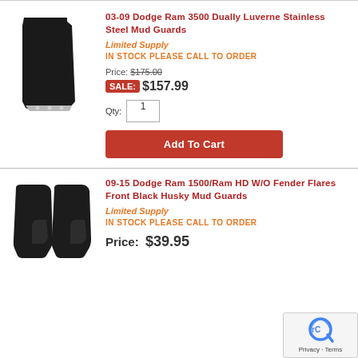[Figure (photo): Single mud flap/guard, black rubber with silver bottom edge]
03-09 Dodge Ram 3500 Dually Luverne Stainless Steel Mud Guards
Limited Supply
IN STOCK PLEASE CALL TO ORDER
Price: $175.00
SALE: $157.99
Qty: 1
Add To Cart
[Figure (photo): Pair of black front mud flaps/guards]
09-15 Dodge Ram 1500/Ram HD W/O Fender Flares Front Black Husky Mud Guards
Limited Supply
IN STOCK PLEASE CALL TO ORDER
Price: $39.95